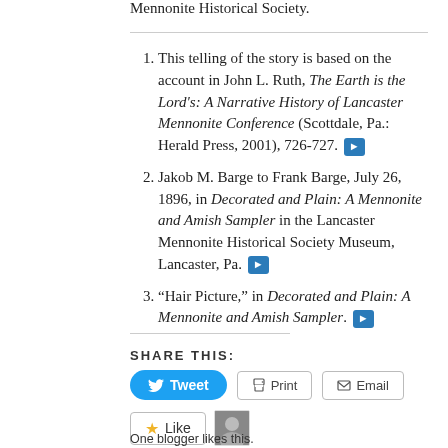Mennonite Historical Society.
This telling of the story is based on the account in John L. Ruth, The Earth is the Lord’s: A Narrative History of Lancaster Mennonite Conference (Scottdale, Pa.: Herald Press, 2001), 726-727.
Jakob M. Barge to Frank Barge, July 26, 1896, in Decorated and Plain: A Mennonite and Amish Sampler in the Lancaster Mennonite Historical Society Museum, Lancaster, Pa.
“Hair Picture,” in Decorated and Plain: A Mennonite and Amish Sampler.
SHARE THIS:
One blogger likes this.